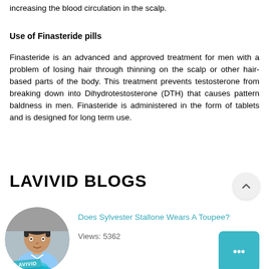increasing the blood circulation in the scalp.
Use of Finasteride pills
Finasteride is an advanced and approved treatment for men with a problem of losing hair through thinning on the scalp or other hair-based parts of the body. This treatment prevents testosterone from breaking down into Dihydrotestosterone (DTH) that causes pattern baldness in men. Finasteride is administered in the form of tablets and is designed for long term use.
LAVIVID BLOGS
[Figure (photo): Circular avatar photo of a man with dark hair wearing a light blue shirt, with a teal LAVIVID badge/logo overlay at the bottom]
Does Sylvester Stallone Wears A Toupee?
Views: 5362
[Figure (illustration): Teal rounded square chat/comment button icon with speech bubble dots]